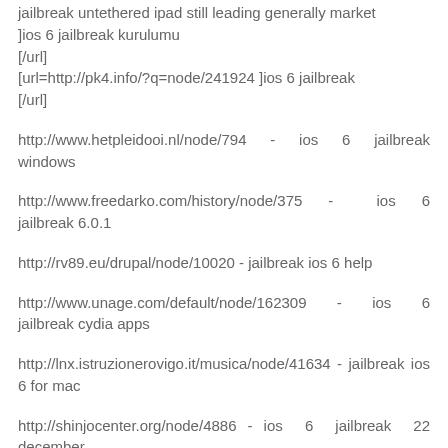jailbreak untethered ipad still leading generally market ]ios 6 jailbreak kurulumu [/url] [url=http://pk4.info/?q=node/241924 ]ios 6 jailbreak [/url]
http://www.hetpleidooi.nl/node/794 - ios 6 jailbreak windows
http://www.freedarko.com/history/node/375 - ios 6 jailbreak 6.0.1
http://rv89.eu/drupal/node/10020 - jailbreak ios 6 help
http://www.unage.com/default/node/162309 - ios 6 jailbreak cydia apps
http://lnx.istruzionerovigo.it/musica/node/41634 - jailbreak ios 6 for mac
http://shinjocenter.org/node/4886 - ios 6 jailbreak 22 december
Responder
Anónimo 12 de enero de 2013, 12:12